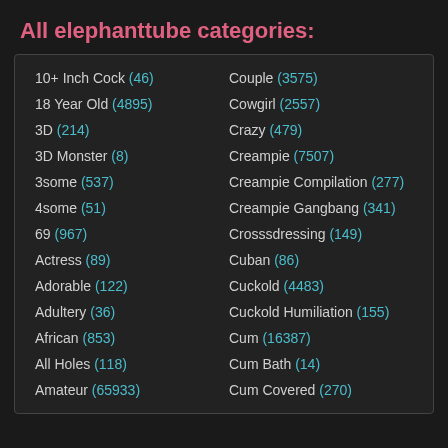All elephanttube categories:
10+ Inch Cock (46)
Couple (3575)
18 Year Old (4895)
Cowgirl (2557)
3D (214)
Crazy (479)
3D Monster (8)
Creampie (7507)
3some (537)
Creampie Compilation (277)
4some (51)
Creampie Gangbang (341)
69 (967)
Crosssdressing (149)
Actress (89)
Cuban (86)
Adorable (122)
Cuckold (4483)
Adultery (36)
Cuckold Humiliation (155)
African (853)
Cum (16387)
All Holes (118)
Cum Bath (14)
Amateur (65933)
Cum Covered (270)